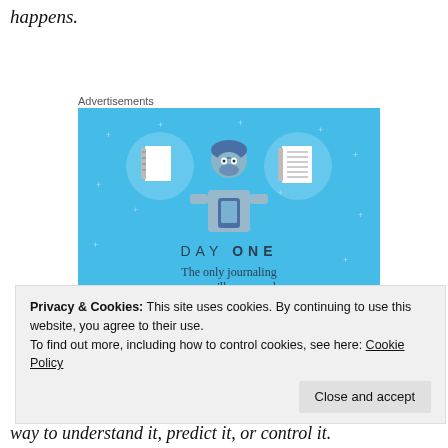happens.
Advertisements
[Figure (illustration): Day One journaling app advertisement on blue background with icons of notebooks and a person holding a phone, text reading DAY ONE - The only journaling app you'll ever need. Get the app button at bottom.]
Privacy & Cookies: This site uses cookies. By continuing to use this website, you agree to their use.
To find out more, including how to control cookies, see here: Cookie Policy
way to understand it, predict it, or control it.